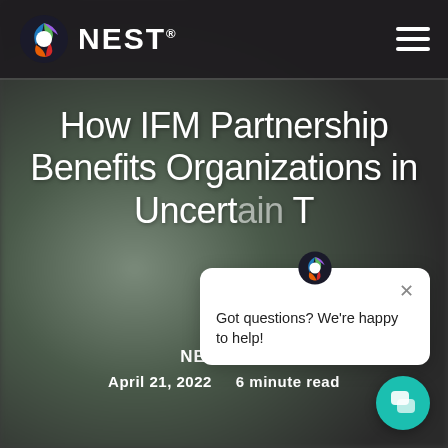NEST
How IFM Partnership Benefits Organizations in Uncertain T[imes]
[Figure (other): Chat popup with NEST logo icon and message: Got questions? We're happy to help!]
NEST IFM
April 21, 2022    6 minute read